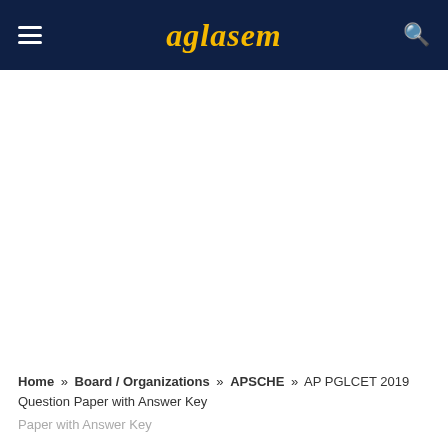aglasem
Home » Board / Organizations » APSCHE » AP PGLCET 2019 Question Paper with Answer Key